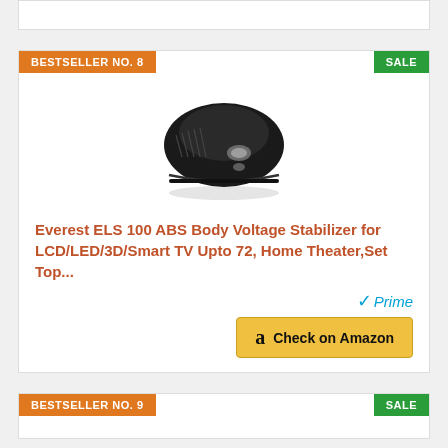[Figure (other): Top partial card cutoff from previous product listing]
BESTSELLER NO. 8
SALE
[Figure (photo): Everest ELS 100 ABS Body Voltage Stabilizer product image - black oval shaped device]
Everest ELS 100 ABS Body Voltage Stabilizer for LCD/LED/3D/Smart TV Upto 72, Home Theater,Set Top...
[Figure (logo): Amazon Prime logo with checkmark and Check on Amazon button]
BESTSELLER NO. 9
SALE